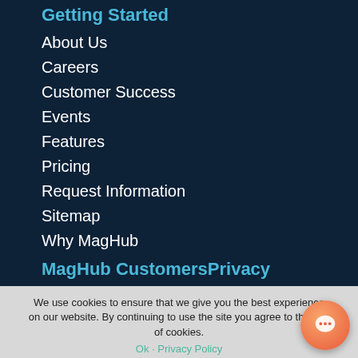Getting Started
About Us
Careers
Customer Success
Events
Features
Pricing
Request Information
Sitemap
Why MagHub
MagHub CustomersPrivacy
We use cookies to ensure that we give you the best experience on our website. By continuing to use the site you agree to the use of cookies.
Ok · Privacy Policy